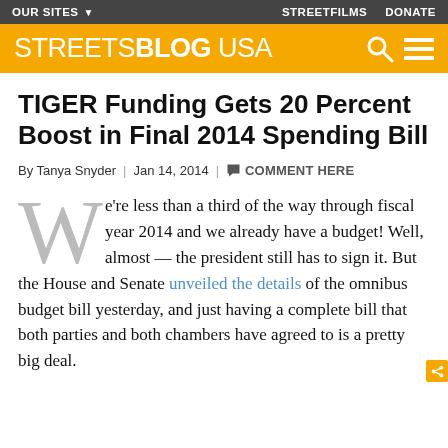OUR SITES ▾   STREETFILMS   DONATE
[Figure (logo): Streetsblog USA logo on yellow/orange background with search and menu icons]
TIGER Funding Gets 20 Percent Boost in Final 2014 Spending Bill
By Tanya Snyder | Jan 14, 2014 | COMMENT HERE
We're less than a third of the way through fiscal year 2014 and we already have a budget! Well, almost — the president still has to sign it. But the House and Senate unveiled the details of the omnibus budget bill yesterday, and just having a complete bill that both parties and both chambers have agreed to is a pretty big deal.